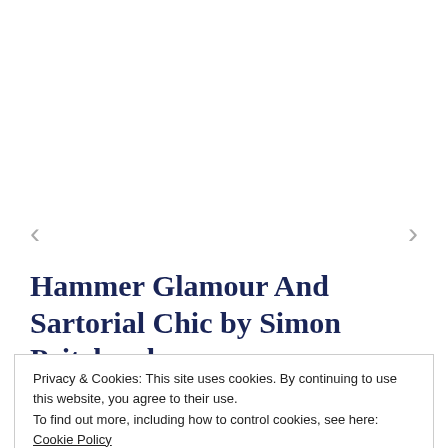[Figure (other): Navigation arrows (left and right chevrons) and a 2x2 grid icon for a photo gallery]
Hammer Glamour And Sartorial Chic by Simon Pritchard
Privacy & Cookies: This site uses cookies. By continuing to use this website, you agree to their use.
To find out more, including how to control cookies, see here: Cookie Policy
Close and accept
entertained today's post comes from Simon Pritchard, an